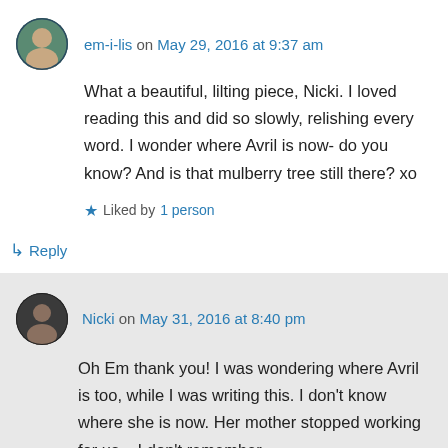em-i-lis on May 29, 2016 at 9:37 am
What a beautiful, lilting piece, Nicki. I loved reading this and did so slowly, relishing every word. I wonder where Avril is now- do you know? And is that mulberry tree still there? xo
Liked by 1 person
Reply
Nicki on May 31, 2016 at 8:40 pm
Oh Em thank you! I was wondering where Avril is too, while I was writing this. I don't know where she is now. Her mother stopped working for us – I don't remember